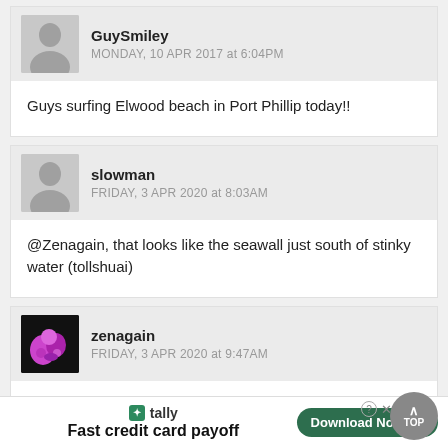GuySmiley
MONDAY, 10 APR 2017 at 6:04PM
Guys surfing Elwood beach in Port Phillip today!!
slowman
FRIDAY, 3 APR 2020 at 8:03AM
@Zenagain, that looks like the seawall just south of stinky water (tollshuai)
zenagain
FRIDAY, 3 APR 2020 at 9:47AM